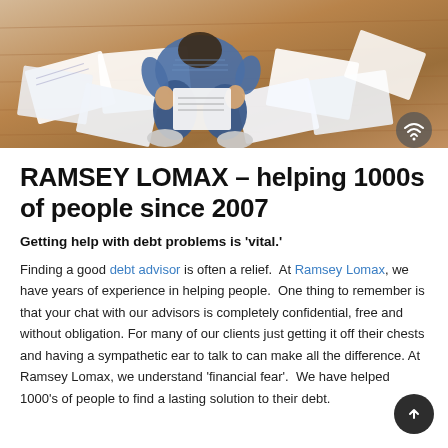[Figure (photo): Overhead view of a person sitting on wooden floor surrounded by papers and documents, looking at financial paperwork. Small wifi/network icon visible in bottom right of image.]
RAMSEY LOMAX – helping 1000s of people since 2007
Getting help with debt problems is 'vital.'
Finding a good debt advisor is often a relief. At Ramsey Lomax, we have years of experience in helping people. One thing to remember is that your chat with our advisors is completely confidential, free and without obligation. For many of our clients just getting it off their chests and having a sympathetic ear to talk to can make all the difference. At Ramsey Lomax, we understand 'financial fear'. We have helped 1000's of people to find a lasting solution to their debt.